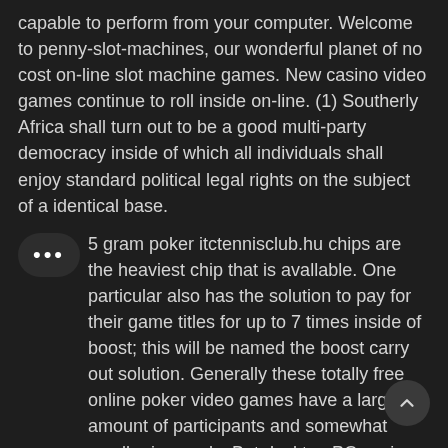capable to perform from your computer. Welcome to penny-slot-machines, our wonderful planet of no cost on-line slot machine games. New casino video games continue to roll inside on-line. (1) Southerly Africa shall turn out to be a good multi-party democracy inside of which all individuals shall enjoy standard political legal rights on the subject of a identical base.
5 gram poker itctennisclub.hu chips are the heaviest chip that is available. One particular also has the solution to pay for their game titles for up to 7 times inside of boost; this will be named the boost carry out solution. Generally these totally free online poker video games have a large amount of participants and somewhat small prize pools. But desktop PC casinos were only the 1st step and today, 1 of the greatest growths we've seen inside the industry is usually that of cellular casino video gaming. This offers players the opportunity to practice and study to play these casino games online.
Specialty colors combinations in the chip edge (edge spots) are usually exceptional to a special casino. Yes, they happen to be